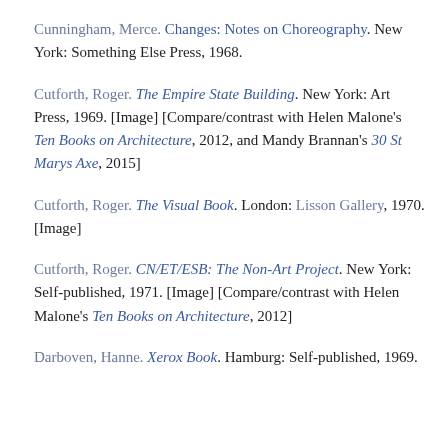Cunningham, Merce. Changes: Notes on Choreography. New York: Something Else Press, 1968.
Cutforth, Roger. The Empire State Building. New York: Art Press, 1969. [Image] [Compare/contrast with Helen Malone's Ten Books on Architecture, 2012, and Mandy Brannan's 30 St Marys Axe, 2015]
Cutforth, Roger. The Visual Book. London: Lisson Gallery, 1970. [Image]
Cutforth, Roger. CN/ET/ESB: The Non-Art Project. New York: Self-published, 1971. [Image] [Compare/contrast with Helen Malone's Ten Books on Architecture, 2012]
Darboven, Hanne. Xerox Book. Hamburg: Self-published, 1969.